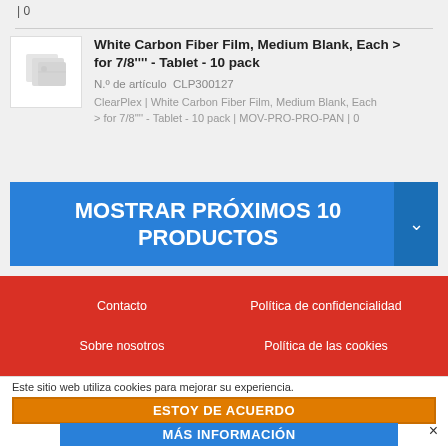| 0
White Carbon Fiber Film, Medium Blank, Each > for 7/8'''' - Tablet - 10 pack
N.º de artículo  CLP300127
ClearPlex | White Carbon Fiber Film, Medium Blank, Each > for 7/8'''' - Tablet - 10 pack | MOV-PRO-PRO-PAN | 0
MOSTRAR PRÓXIMOS 10 PRODUCTOS
Contacto
Política de confidencialidad
Sobre nosotros
Política de las cookies
Este sitio web utiliza cookies para mejorar su experiencia.
ESTOY DE ACUERDO
MÁS INFORMACIÓN